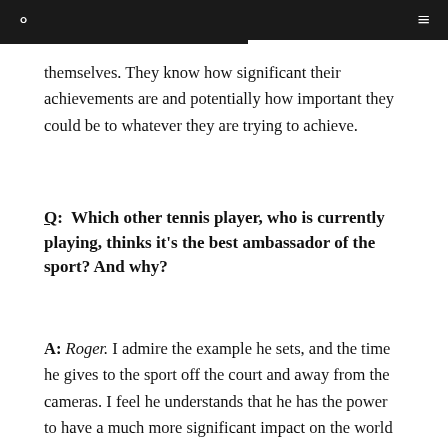themselves. They know how significant their achievements are and potentially how important they could be to whatever they are trying to achieve.
Q:  Which other tennis player, who is currently playing, thinks it's the best ambassador of the sport? And why?
A: Roger. I admire the example he sets, and the time he gives to the sport off the court and away from the cameras. I feel he understands that he has the power to have a much more significant impact on the world in general. Whether it is his charity work or sitting on